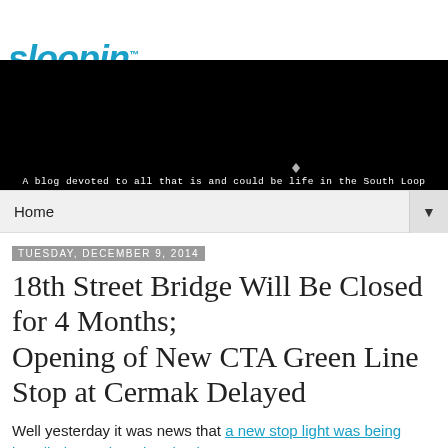[Figure (logo): Sloopin blog logo with Chicago skyline silhouette and tagline 'A blog devoted to all that is and could be life in the South Loop']
Home
Tuesday, December 9, 2014
18th Street Bridge Will Be Closed for 4 Months;
Opening of New CTA Green Line Stop at Cermak Delayed
Well yesterday it was news that a new stop light was being installed at 14th and Wabash